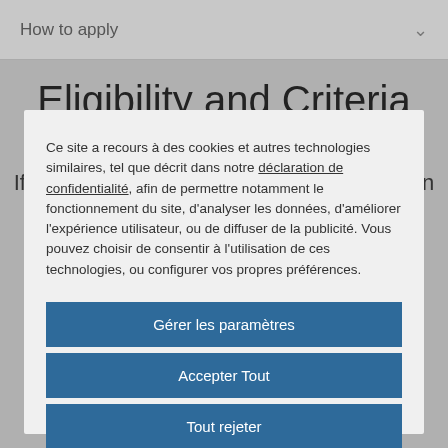How to apply
Eligibility and Criteria
If your organization is based in or has been
Ce site a recours à des cookies et autres technologies similaires, tel que décrit dans notre déclaration de confidentialité, afin de permettre notamment le fonctionnement du site, d'analyser les données, d'améliorer l'expérience utilisateur, ou de diffuser de la publicité. Vous pouvez choisir de consentir à l'utilisation de ces technologies, ou configurer vos propres préférences.
Gérer les paramètres
Accepter Tout
Tout rejeter
Utilisation de cookies